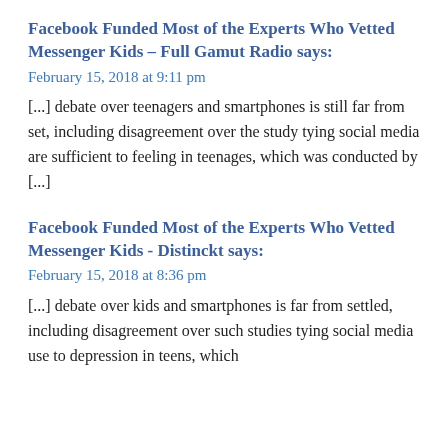Facebook Funded Most of the Experts Who Vetted Messenger Kids – Full Gamut Radio says:
February 15, 2018 at 9:11 pm
[...] debate over teenagers and smartphones is still far from set, including disagreement over the study tying social media are sufficient to feeling in teenages, which was conducted by [...]
Facebook Funded Most of the Experts Who Vetted Messenger Kids - Distinckt says:
February 15, 2018 at 8:36 pm
[...] debate over kids and smartphones is far from settled, including disagreement over such studies tying social media use to depression in teens, which